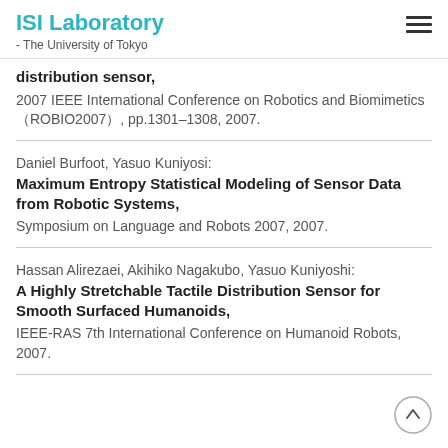ISI Laboratory - The University of Tokyo
distribution sensor,
2007 IEEE International Conference on Robotics and Biomimetics（ROBIO2007）, pp.1301–1308, 2007.
Daniel Burfoot, Yasuo Kuniyosi:
Maximum Entropy Statistical Modeling of Sensor Data from Robotic Systems,
Symposium on Language and Robots 2007, 2007.
Hassan Alirezaei, Akihiko Nagakubo, Yasuo Kuniyoshi:
A Highly Stretchable Tactile Distribution Sensor for Smooth Surfaced Humanoids,
IEEE-RAS 7th International Conference on Humanoid Robots, 2007.